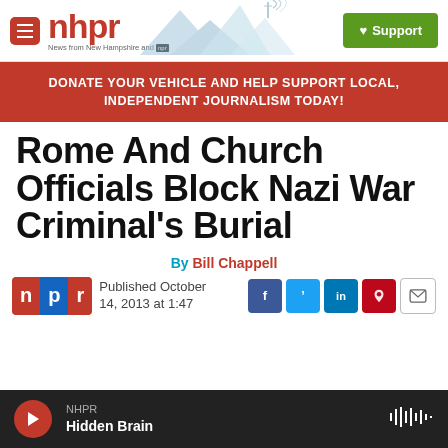nhpr — News from New Hampshire and NPR | Support
DONATE YOUR VEHICLE AND HELP SUPPORT LOCAL, INDEPENDENT JOURNALISM TODAY!
Rome And Church Officials Block Nazi War Criminal's Burial
By Bill Chappell
Published October 14, 2013 at 1:47
NHPR Hidden Brain